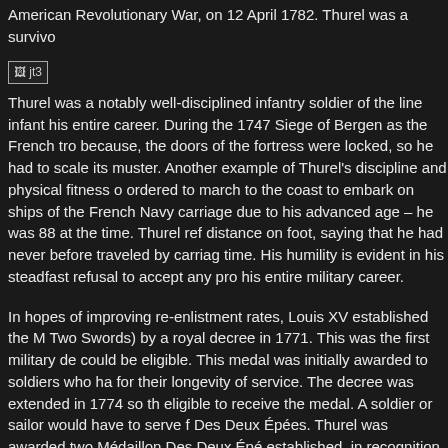American Revolutionary War, on 12 April 1782. Thurel was a survivo...
[Figure (photo): Image placeholder labeled jt3]
Thurel was a notably well-disciplined infantry soldier of the line infant... his entire career. During the 1747 Siege of Bergen as the French tro... because, the doors of the fortress were locked, so he had to scale its... muster. Another example of Thurel's discipline and physical fitness o... ordered to march to the coast to embark on ships of the French Navy... carriage due to his advanced age – he was 88 at the time. Thurel ref... distance on foot, saying that he had never before traveled by carriag... time. His humility is evident in his steadfast refusal to accept any pro... his entire military career.
In hopes of improving re-enlistment rates, Louis XV established the M... Two Swords) by a royal decree in 1771. This was the first military de... could be eligible. This medal was initially awarded to soldiers who ha... for their longevity of service. The decree was extended in 1774 so th... eligible to receive the medal. A soldier or sailor would have to serve f... Des Deux Épées. Thurel was awarded two Médaillon Des Deux Épé... established, in recognition of the two 24-year periods of time (1716...